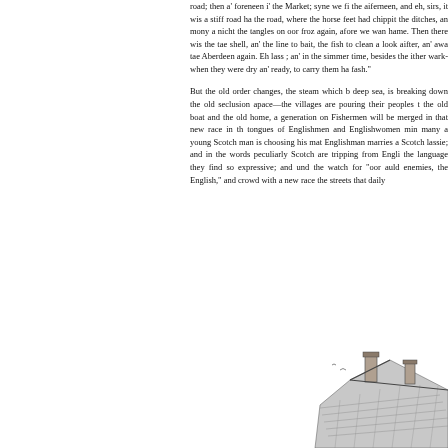road; then a' foreneen i' the Market; syne we fi the aiferneen, and eh, sirs, it wis a stiff road ha the road, where the horse feet had chippit the ditches, an mony a nicht the tangles on oor froz again, afore we wan hame. Then there wis the tae shell, an' the line to bait, the fish to clean a look aifter, an' awa tae Aberdeen again. Eh lass ; an' in the simmer time, besides the ither wark when they were dry an' ready, to carry them ha fash."
But the old order changes, the steam which b deep sea, is breaking down the old seclusion apace—the villages are pouring their peoples t the old boat and the old home, a generation on Fishermen will be merged in that new race in th tongues of Englishmen and Englishwomen min many a young Scotch man is choosing his mat Englishman marries a Scotch lassie; and in th words peculiarly Scotch are tripping from Engli the language they find so expressive; and und the watch for "oor auld enemies, the English," and crowd with a new race the streets that daily
[Figure (illustration): A pencil or ink illustration of a rooftop with chimneys, showing the upper portion of a building with detailed roof tiles and chimney stacks.]